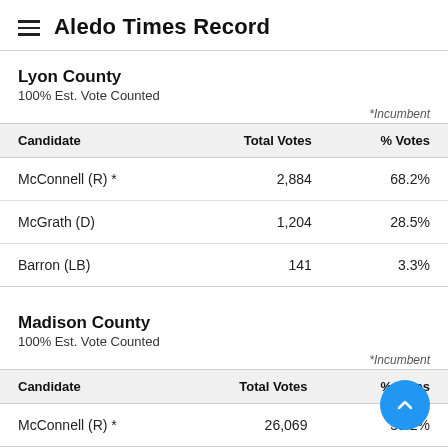Aledo Times Record
Lyon County
100% Est. Vote Counted
*Incumbent
| Candidate | Total Votes | % Votes |
| --- | --- | --- |
| McConnell (R) * | 2,884 | 68.2% |
| McGrath (D) | 1,204 | 28.5% |
| Barron (LB) | 141 | 3.3% |
Madison County
100% Est. Vote Counted
*Incumbent
| Candidate | Total Votes | % Votes |
| --- | --- | --- |
| McConnell (R) * | 26,069 | 59.2% |